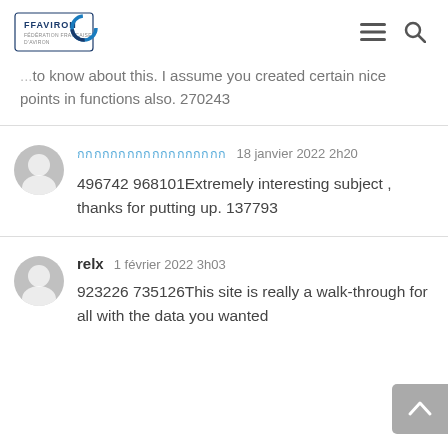FFAVIRON [logo] [hamburger menu] [search icon]
...to know about this. I assume you created certain nice points in functions also. 270243
[Thai username]  18 janvier 2022 2h20
496742 968101Extremely interesting subject , thanks for putting up. 137793
relx  1 février 2022 3h03
923226 735126This site is really a walk-through for all with the data you wanted